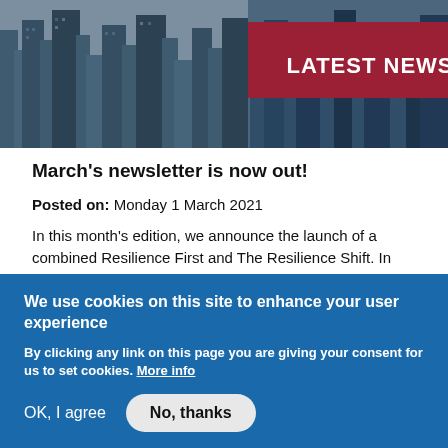[Figure (photo): City skyline photo with blue-tinted buildings and a red banner overlay with 'LATEST NEWS' text]
March's newsletter is now out!
Posted on: Monday 1 March 2021
In this month's edition, we announce the launch of a combined Resilience First and The Resilience Shift. In addition, there is the publication of a new guide on flexible working.
We use cookies on this site to enhance your user experience
By clicking any link on this page you are giving your consent for us to set cookies. More info
OK, I agree   No, thanks